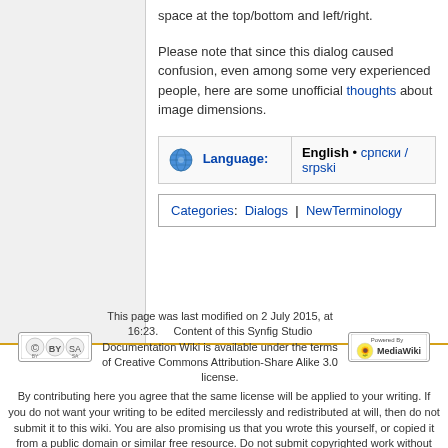space at the top/bottom and left/right.
Please note that since this dialog caused confusion, even among some very experienced people, here are some unofficial thoughts about image dimensions.
| Language: | English • српски / srpski |
| --- | --- |
Categories: Dialogs | NewTerminology
This page was last modified on 2 July 2015, at 16:23. Content of this Synfig Studio Documentation Wiki is available under the terms of Creative Commons Attribution-Share Alike 3.0 license. By contributing here you agree that the same license will be applied to your writing. If you do not want your writing to be edited mercilessly and redistributed at will, then do not submit it to this wiki. You are also promising us that you wrote this yourself, or copied it from a public domain or similar free resource. Do not submit copyrighted work without permission! Privacy policy About Synfig Studio :: Documentation Disclaimers